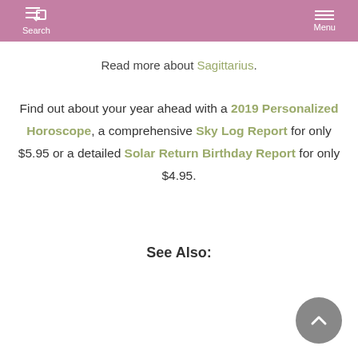Search  Menu
Read more about Sagittarius.
Find out about your year ahead with a 2019 Personalized Horoscope, a comprehensive Sky Log Report for only $5.95 or a detailed Solar Return Birthday Report for only $4.95.
See Also: